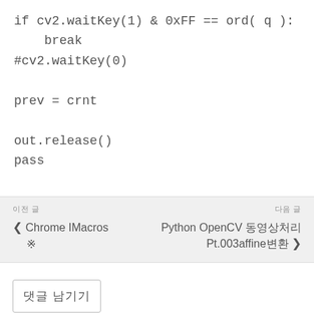if cv2.waitKey(1) & 0xFF == ord( q ):
    break
#cv2.waitKey(0)

prev = crnt

out.release()
pass
이전 글
Chrome IMacros ※
다음 글
Python OpenCV 동영상처리 Pt.003affine변환
댓글 남기기